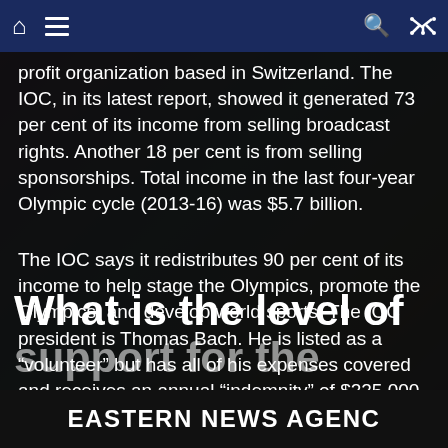Navigation bar with home, menu, search, and shuffle icons
profit organization based in Switzerland. The IOC, in its latest report, showed it generated 73 per cent of its income from selling broadcast rights. Another 18 per cent is from selling sponsorships. Total income in the last four-year Olympic cycle (2013-16) was $5.7 billion.
The IOC says it redistributes 90 per cent of its income to help stage the Olympics, promote the Olympics, and develop world sports. The IOC president is Thomas Bach. He is listed as a “volunteer” but has all of his expenses covered and receives an annual “indemnity” of $225,000. His Swiss taxes are also paid, amounting to $126,000 according to the latest report.
What is the level of support for the
EASTERN NEWS AGENCY